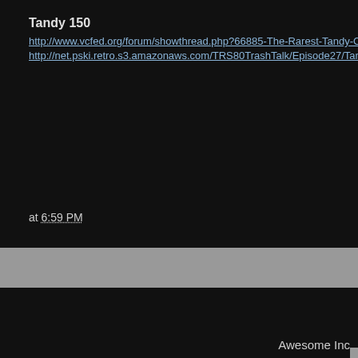Tandy 150
http://www.vcfed.org/forum/showthread.php?66885-The-Rarest-Tandy-Comput
http://net.pski.retro.s3.amazonaws.com/TRS80TrashTalk/Episode27/Tandy150
at 6:59 PM
Newer Post
Home
Awesome Inc